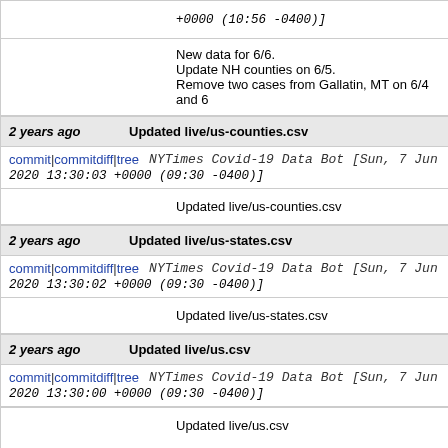+0000 (10:56 -0400)]
New data for 6/6.
Update NH counties on 6/5.
Remove two cases from Gallatin, MT on 6/4 and 6
2 years ago	Updated live/us-counties.csv
commit | commitdiff | tree	NYTimes Covid-19 Data Bot [Sun, 7 Jun 2020 13:30:03 +0000 (09:30 -0400)]
Updated live/us-counties.csv
2 years ago	Updated live/us-states.csv
commit | commitdiff | tree	NYTimes Covid-19 Data Bot [Sun, 7 Jun 2020 13:30:02 +0000 (09:30 -0400)]
Updated live/us-states.csv
2 years ago	Updated live/us.csv
commit | commitdiff | tree	NYTimes Covid-19 Data Bot [Sun, 7 Jun 2020 13:30:00 +0000 (09:30 -0400)]
Updated live/us.csv